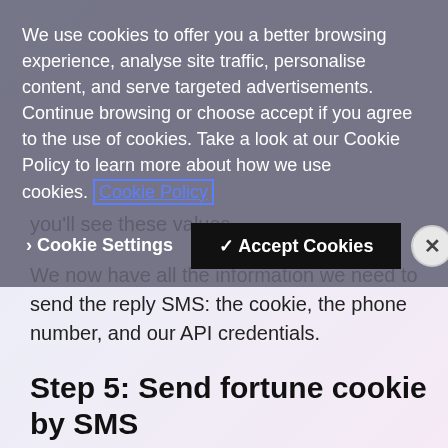you'll see these values.
We now have all the information we need to send the reply SMS: the cookie, the phone number, and our API credentials.
Step 5: Send fortune cookie by SMS
To return an SMS to the same number that sent a message to us in
We use cookies to offer you a better browsing experience, analyse site traffic, personalise content, and serve targeted advertisements. Continue browsing or choose accept if you agree to the use of cookies. Take a look at our Cookie Policy to learn more about how we use cookies. Cookie Policy